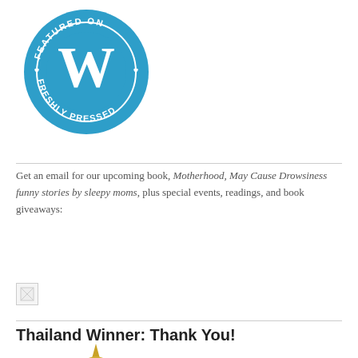[Figure (logo): WordPress 'Featured on Freshly Pressed' circular badge in blue with white W logo and text around the border]
Get an email for our upcoming book, Motherhood, May Cause Drowsiness funny stories by sleepy moms, plus special events, readings, and book giveaways:
[Figure (other): Broken/missing image placeholder]
Thailand Winner: Thank You!
[Figure (logo): Gold expats blog badge (partially visible at bottom)]